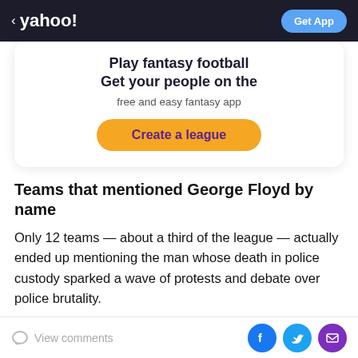< yahoo!  Get App
[Figure (other): Yahoo Fantasy Football app promotion card with 'Play fantasy football / Get your people on the / free and easy fantasy app' and 'Create a league' button]
Teams that mentioned George Floyd by name
Only 12 teams — about a third of the league — actually ended up mentioning the man whose death in police custody sparked a wave of protests and debate over police brutality.
That includes the teams representing the city in which
View comments